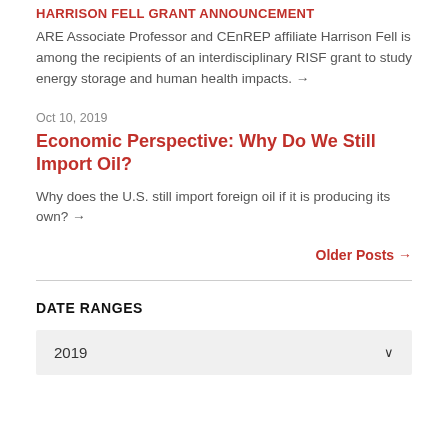HARRISON FELL GRANT ANNOUNCEMENT
ARE Associate Professor and CEnREP affiliate Harrison Fell is among the recipients of an interdisciplinary RISF grant to study energy storage and human health impacts. →
Oct 10, 2019
Economic Perspective: Why Do We Still Import Oil?
Why does the U.S. still import foreign oil if it is producing its own? →
Older Posts →
DATE RANGES
2019